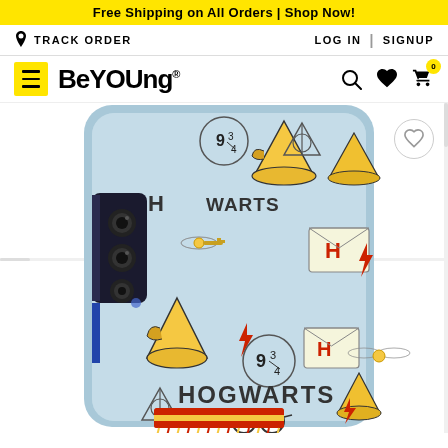Free Shipping on All Orders | Shop Now!
TRACK ORDER   LOG IN | SIGNUP
[Figure (logo): BeYOUng brand logo with hamburger menu, search, heart, and cart icons]
[Figure (photo): Harry Potter themed phone case for a smartphone, featuring Hogwarts doodle pattern on light blue background with sorting hats, deathly hallows symbol, golden snitch, lightning bolts, 9 3/4 platform, and HOGWARTS text]